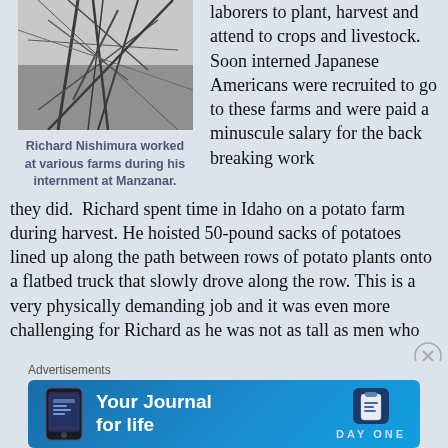[Figure (photo): Black and white photograph of tree branches or farm tools, associated with Richard Nishimura's internment at Manzanar.]
Richard Nishimura worked at various farms during his internment at Manzanar.
laborers to plant, harvest and attend to crops and livestock. Soon interned Japanese Americans were recruited to go to these farms and were paid a minuscule salary for the back breaking work they did.  Richard spent time in Idaho on a potato farm during harvest. He hoisted 50-pound sacks of potatoes lined up along the path between rows of potato plants onto a flatbed truck that slowly drove along the row. This is a very physically demanding job and it was even more challenging for Richard as he was not as tall as men who
Advertisements
[Figure (screenshot): Advertisement banner for Day One journal app with text 'Your Journal for life' and Day One logo on blue background.]